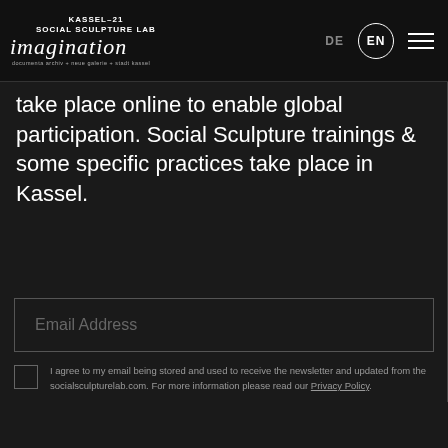KASSEL-21 SOCIAL SCULPTURE LAB — imagination — documenta archiv + neue galerie + stadt kassel — DE / EN navigation
take place online to enable global participation. Social Sculpture trainings & some specific practices take place in Kassel.
Email Address
I agree to my email being stored and used to receive the newsletter and updated from the socialsculpturelab.com. For more information please read our Privacy Policy.